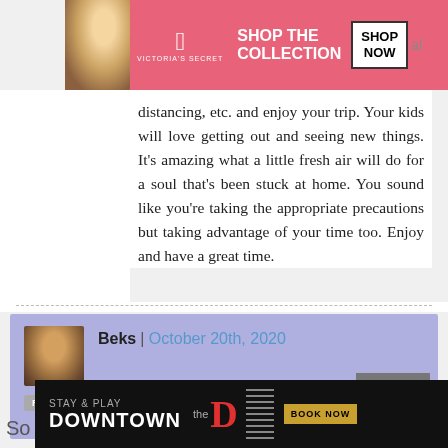[Figure (photo): Victoria's Secret advertisement banner with model and Shop the Collection / Shop Now button]
distancing, etc. and enjoy your trip. Your kids will love getting out and seeing new things. It's amazing what a little fresh air will do for a soul that's been stuck at home. You sound like you're taking the appropriate precautions but taking advantage of your time too. Enjoy and have a great time.
Beks | October 20th, 2020
I absolutely love this. We're going. Life doesn't stop.
[Figure (photo): Bottom advertisement: Stay & Play Downtown with The D Las Vegas logo and Book Now button]